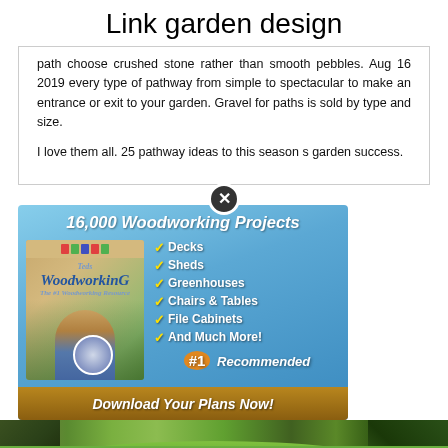Link garden design
path choose crushed stone rather than smooth pebbles. Aug 16 2019 every type of pathway from simple to spectacular to make an entrance or exit to your garden. Gravel for paths is sold by type and size.

I love them all. 25 pathway ideas to this season s garden success.
[Figure (photo): Advertisement banner for '16,000 Woodworking Projects' showing a product box with Ted's WoodWorking branding, a man holding tools, a DVD disc, checklist of items (Decks, Sheds, Greenhouses, Chairs & Tables, File Cabinets, And Much More!), '#1 Recommended' badge, and 'Download Your Plans Now!' button]
[Figure (photo): Garden photo strip showing green lawn with trees on each side]